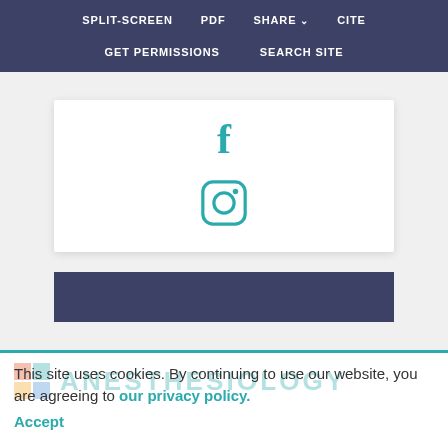SPLIT-SCREEN  PDF  SHARE  CITE  GET PERMISSIONS  SEARCH SITE
[Figure (screenshot): White card with Facebook icon (f) and Instagram icon in teal color, followed by a dark navy blue bar below it]
[Figure (logo): Anesthesiology journal logo with colored squares and teal text]
This site uses cookies. By continuing to use our website, you are agreeing to our privacy policy. Accept